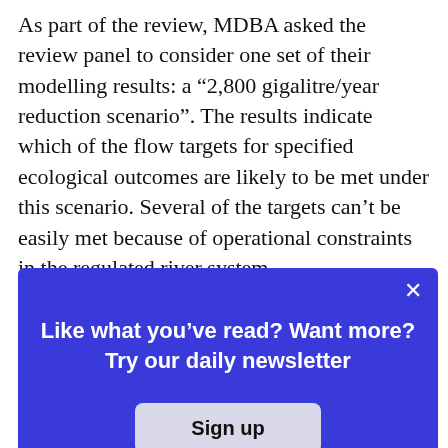As part of the review, MDBA asked the review panel to consider one set of their modelling results: a “2,800 gigalitre/year reduction scenario”. The results indicate which of the flow targets for specified ecological outcomes are likely to be met under this scenario. Several of the targets can’t be easily met because of operational constraints in the regulated river system.
These operational constraints are detailed in
[Figure (screenshot): A modal overlay popup with blue background containing the text 'Like what you've read? Want more? Try our daily newsletter' and a 'Sign up' button, with an X close button in the top right corner.]